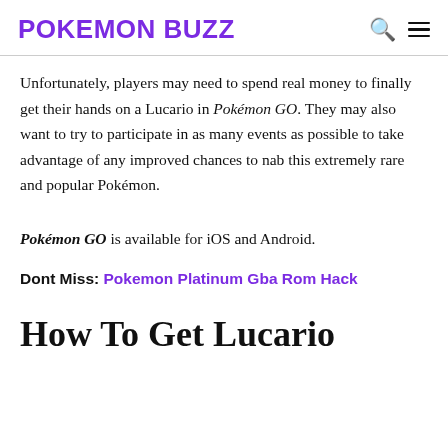POKEMON BUZZ
Unfortunately, players may need to spend real money to finally get their hands on a Lucario in Pokémon GO. They may also want to try to participate in as many events as possible to take advantage of any improved chances to nab this extremely rare and popular Pokémon.
Pokémon GO is available for iOS and Android.
Dont Miss: Pokemon Platinum Gba Rom Hack
How To Get Lucario